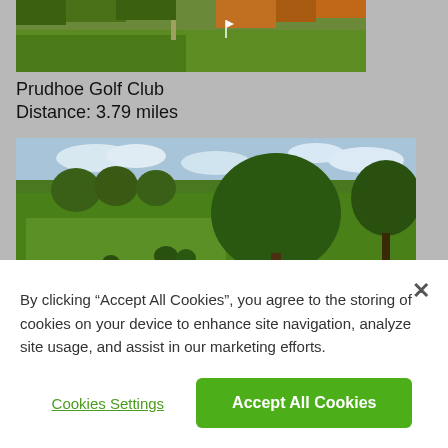[Figure (photo): Aerial view of Prudhoe Golf Club green fairway with autumn trees in background]
Prudhoe Golf Club
Distance: 3.79 miles
[Figure (photo): Ryton Golf Club fairway with large round trees and green grass, sunny day]
Ryton Golf Club
By clicking "Accept All Cookies", you agree to the storing of cookies on your device to enhance site navigation, analyze site usage, and assist in our marketing efforts.
Cookies Settings
Accept All Cookies